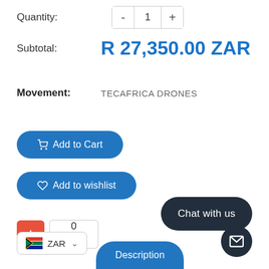Quantity: - 1 +
Subtotal: R 27,350.00 ZAR
Movement: TECAFRICA DRONES
Add to Cart
Add to wishlist
0
ZAR
Chat with us
Description